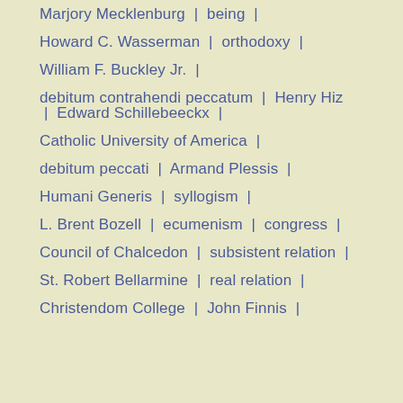Marjory Mecklenburg | being |
Howard C. Wasserman | orthodoxy |
William F. Buckley Jr. |
debitum contrahendi peccatum | Henry Hiz | Edward Schillebeeckx |
Catholic University of America |
debitum peccati | Armand Plessis |
Humani Generis | syllogism |
L. Brent Bozell | ecumenism | congress |
Council of Chalcedon | subsistent relation |
St. Robert Bellarmine | real relation |
Christendom College | John Finnis |